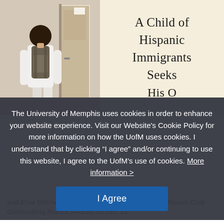[Figure (photo): A student with a backpack walking through a school hallway, viewed from behind. Adjacent to the student is a book cover or article title reading 'A Child of Hispanic Immigrants Seeks His O...' on a cream/beige background.]
The University of Memphis uses cookies in order to enhance your website experience. Visit our Website's Cookie Policy for more information on how the UofM uses cookies. I understand that by clicking “I agree” and/or continuing to use this website, I agree to the UofM’s use of cookies. More information >
I Agree
and Elise Mitchell are recognized at the Journalism Alumni Club Outstanding Alumni Awards on Oct. 13.